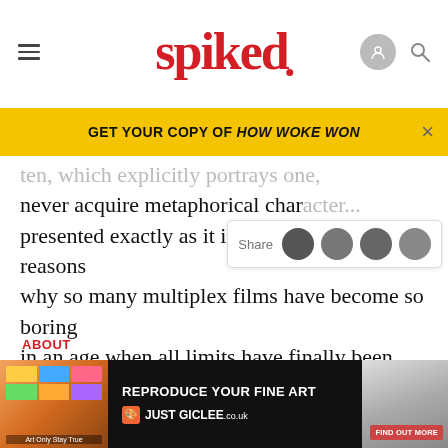spiked
GET YOUR COPY OF HOW WOKE WON
ten, which explicitly portrays one, never acquire metaphorical character... presented exactly as it is. That is one of the reasons why so many multiplex films have become so boring in an age when all limits have finally been cast off. The Good German trades away the essence of the genre it works in, and thus loses much of our interest within 15 minutes.
You could say it's an interesting experiment, but the trouble with... we've
ABOUT
[Figure (screenshot): Ad banner: REPRODUCE YOUR FINE ART - JUST GICLEE.co.uk with FIND OUT MORE button]